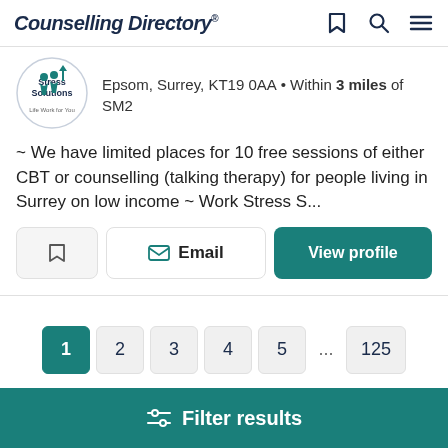Counselling Directory
[Figure (logo): Stress Solutions Life Work for You logo — circular badge with teal figure icons]
Epsom, Surrey, KT19 0AA • Within 3 miles of SM2
~ We have limited places for 10 free sessions of either CBT or counselling (talking therapy) for people living in Surrey on low income ~ Work Stress S...
Email  View profile
1  2  3  4  5  ...  125
Filter results